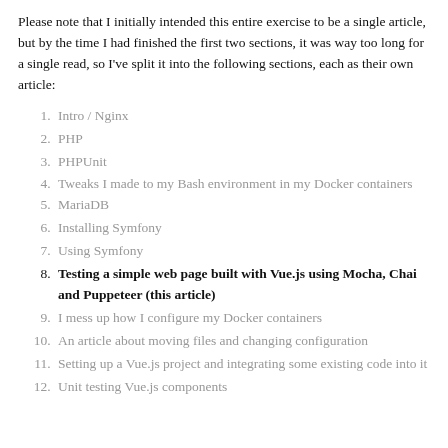Please note that I initially intended this entire exercise to be a single article, but by the time I had finished the first two sections, it was way too long for a single read, so I've split it into the following sections, each as their own article:
1. Intro / Nginx
2. PHP
3. PHPUnit
4. Tweaks I made to my Bash environment in my Docker containers
5. MariaDB
6. Installing Symfony
7. Using Symfony
8. Testing a simple web page built with Vue.js using Mocha, Chai and Puppeteer (this article)
9. I mess up how I configure my Docker containers
10. An article about moving files and changing configuration
11. Setting up a Vue.js project and integrating some existing code into it
12. Unit testing Vue.js components